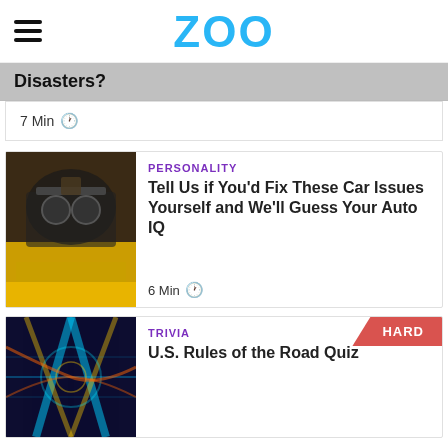ZOO
Disasters?
7 Min
PERSONALITY
Tell Us if You'd Fix These Car Issues Yourself and We'll Guess Your Auto IQ
6 Min
TRIVIA
U.S. Rules of the Road Quiz